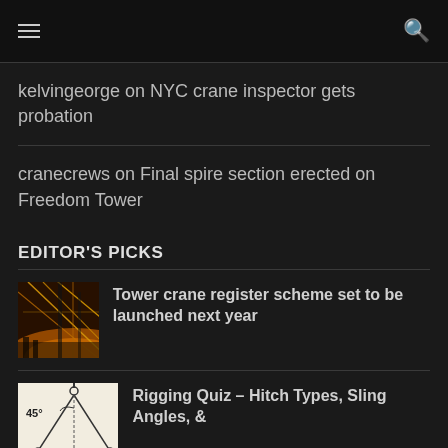kelvingeorge on NYC crane inspector gets probation
cranecrews on Final spire section erected on Freedom Tower
EDITOR'S PICKS
[Figure (photo): Overhead photo of tower crane cables from high angle, golden/orange lighting at night]
Tower crane register scheme set to be launched next year
[Figure (engineering-diagram): Rigging diagram showing sling angles at 45 degrees with triangular wire arrangement]
Rigging Quiz – Hitch Types, Sling Angles, &